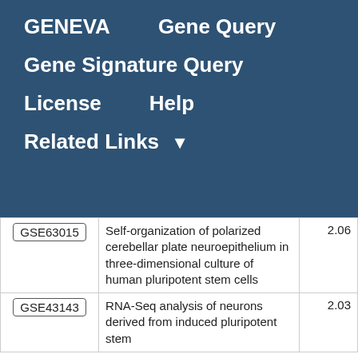GENEVA    Gene Query
Gene Signature Query
License    Help
Related Links ▼
| GSE ID | Description | Score |
| --- | --- | --- |
| GSE63015 | Self-organization of polarized cerebellar plate neuroepithelium in three-dimensional culture of human pluripotent stem cells | 2.06 |
| GSE43143 | RNA-Seq analysis of neurons derived from induced pluripotent stem | 2.03 |